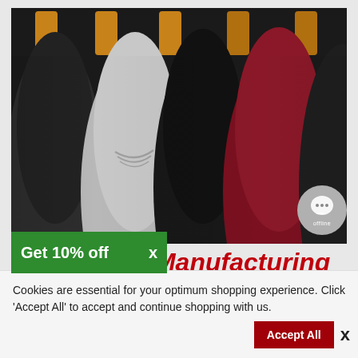[Figure (photo): Close-up photo of multiple hooded sweatshirts/hoodies hanging on wooden hangers. Colors visible include dark charcoal, light gray, black, dark maroon/burgundy, and partial black and light gray on the right edge. The hoodies are viewed from the back/shoulder area.]
[Figure (screenshot): Gray circular chat support widget with speech bubble icon showing three dots and 'offline' label beneath.]
Get 10% off  X
Garments Manufacturing
Cookies are essential for your optimum shopping experience. Click 'Accept All' to accept and continue shopping with us.
Accept All  X